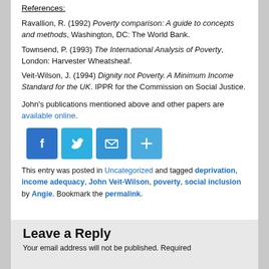References:
Ravallion, R. (1992) Poverty comparison: A guide to concepts and methods, Washington, DC: The World Bank.
Townsend, P. (1993) The International Analysis of Poverty, London: Harvester Wheatsheaf.
Veit-Wilson, J. (1994) Dignity not Poverty. A Minimum Income Standard for the UK. IPPR for the Commission on Social Justice.
John's publications mentioned above and other papers are available online.
[Figure (other): Social sharing icons: Facebook (blue), Twitter (blue), Email (blue), Share/More (blue)]
This entry was posted in Uncategorized and tagged deprivation, income adequacy, John Veit-Wilson, poverty, social inclusion by Angie. Bookmark the permalink.
Leave a Reply
Your email address will not be published. Required